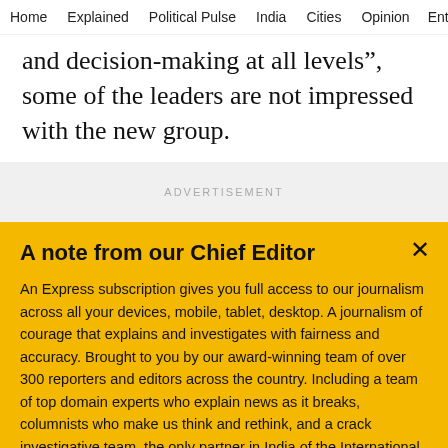Home  Explained  Political Pulse  India  Cities  Opinion  Entertainment
and decision-making at all levels”, some of the leaders are not impressed with the new group.
[Figure (other): Advertisement placeholder block]
A note from our Chief Editor
An Express subscription gives you full access to our journalism across all your devices, mobile, tablet, desktop. A journalism of courage that explains and investigates with fairness and accuracy. Brought to you by our award-winning team of over 300 reporters and editors across the country. Including a team of top domain experts who explain news as it breaks, columnists who make us think and rethink, and a crack investigative team, the only partner in India of the International Consortium of Investigative Journalists. Jo
Buy Now →